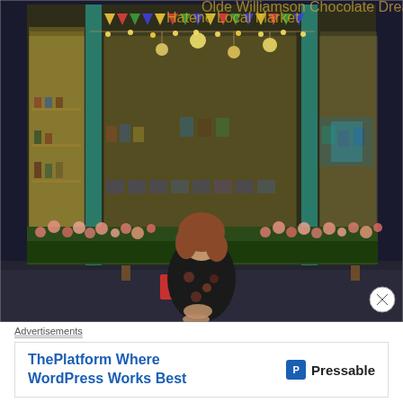[Figure (photo): A woman in a black floral dress sits on a bench in front of a brightly lit shop storefront at night. The shop window displays products and has decorative bunting. A flower bed with pink flowers is visible below the window. A 'Five Roses' sign is visible on the left side of the window.]
Advertisements
ThePlatform Where WordPress Works Best
[Figure (logo): Pressable logo with blue square icon containing letter P and text 'Pressable']